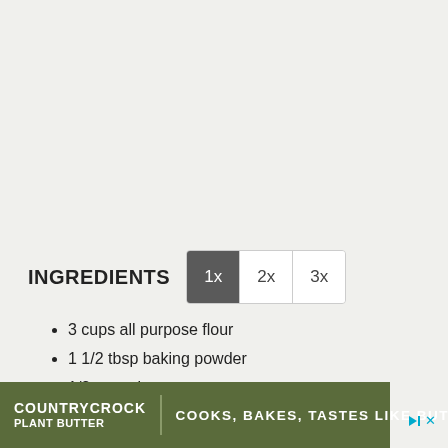INGREDIENTS
3 cups all purpose flour
1 1/2 tbsp baking powder
1/2 tsp salt
1/2 cup cold unsalted butter cubed
2 cups buttermilk
[Figure (other): Country Crock Plant Butter advertisement banner: COOKS, BAKES, TASTES LIKE BUTTER]